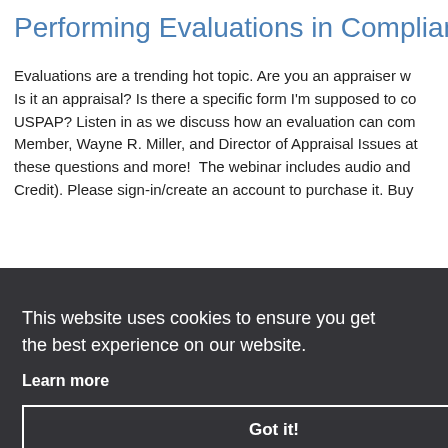Performing Evaluations in Compliance w
Evaluations are a trending hot topic. Are you an appraiser w Is it an appraisal? Is there a specific form I'm supposed to co USPAP? Listen in as we discuss how an evaluation can com Member, Wayne R. Miller, and Director of Appraisal Issues at these questions and more!  The webinar includes audio and Credit). Please sign-in/create an account to purchase it. Buy
This website uses cookies to ensure you get the best experience on our website.
Learn more
Got it!
[Figure (photo): Partial photo of a building with architectural beams/columns visible against a blue sky, shown on the right side of the cookie consent overlay]